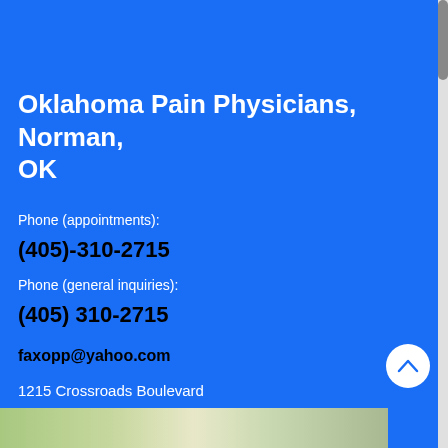Oklahoma Pain Physicians, Norman, OK
Phone (appointments):
(405)-310-2715
Phone (general inquiries):
(405) 310-2715
faxopp@yahoo.com
1215 Crossroads Boulevard
Suite 100, Norman, OK 73072
[Figure (map): Map strip showing a partial street/area map at the bottom of the page]